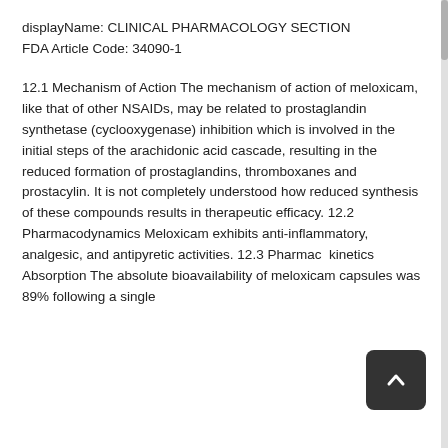displayName: CLINICAL PHARMACOLOGY SECTION
FDA Article Code: 34090-1
12.1 Mechanism of Action The mechanism of action of meloxicam, like that of other NSAIDs, may be related to prostaglandin synthetase (cyclooxygenase) inhibition which is involved in the initial steps of the arachidonic acid cascade, resulting in the reduced formation of prostaglandins, thromboxanes and prostacylin. It is not completely understood how reduced synthesis of these compounds results in therapeutic efficacy. 12.2 Pharmacodynamics Meloxicam exhibits anti-inflammatory, analgesic, and antipyretic activities. 12.3 Pharmacokinetics Absorption The absolute bioavailability of meloxicam capsules was 89% following a single